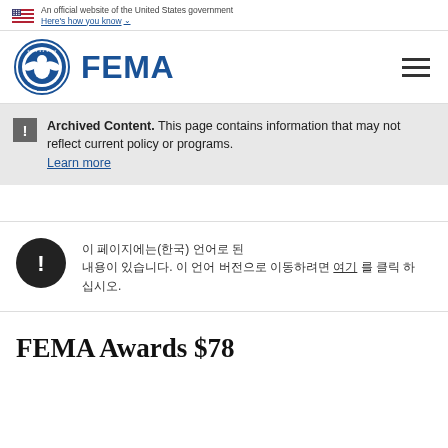An official website of the United States government. Here's how you know
[Figure (logo): FEMA logo with DHS seal and FEMA wordmark in blue]
Archived Content. This page contains information that may not reflect current policy or programs. Learn more
이 페이지에는(한국) 언어로 된 내용이 있습니다. 이 언어 버전으로 이동하려면 여기 를 클릭 하십시오.
FEMA Awards $78